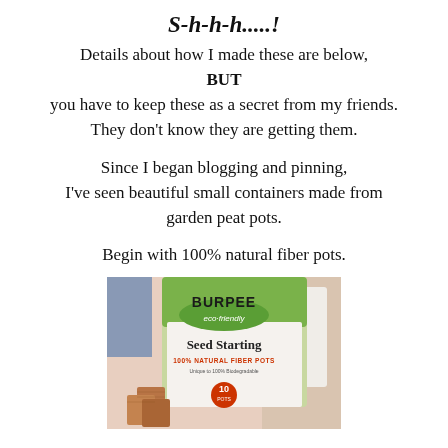S-h-h-h.....!
Details about how I made these are below, BUT you have to keep these as a secret from my friends. They don't know they are getting them.
Since I began blogging and pinning, I've seen beautiful small containers made from garden peat pots.
Begin with 100% natural fiber pots.
[Figure (photo): A package of Burpee eco-friendly Seed Starting 100% Natural Fiber Pots (10 pots), shown with some peat pots visible at the bottom and background items.]